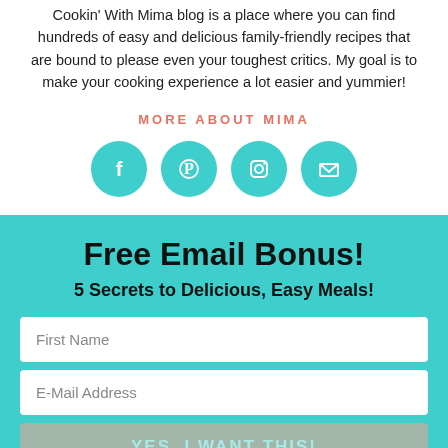Cookin' With Mima blog is a place where you can find hundreds of easy and delicious family-friendly recipes that are bound to please even your toughest critics. My goal is to make your cooking experience a lot easier and yummier!
MORE ABOUT MIMA
[Figure (illustration): Four teal circular social media icons: Facebook, Pinterest, Instagram, and Email/envelope]
Free Email Bonus!
5 Secrets to Delicious, Easy Meals!
First Name
E-Mail Address
YES, I WANT THIS!